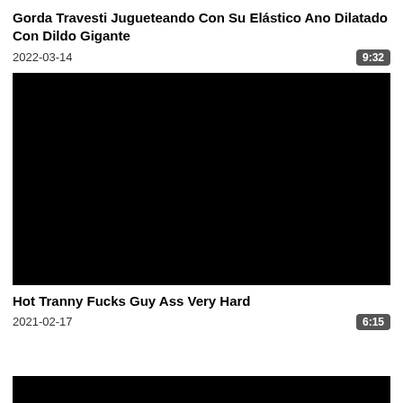Gorda Travesti Jugueteando Con Su Elástico Ano Dilatado Con Dildo Gigante
2022-03-14
9:32
[Figure (photo): Black thumbnail placeholder for video]
Hot Tranny Fucks Guy Ass Very Hard
2021-02-17
6:15
[Figure (photo): Black thumbnail placeholder for second video (partial)]